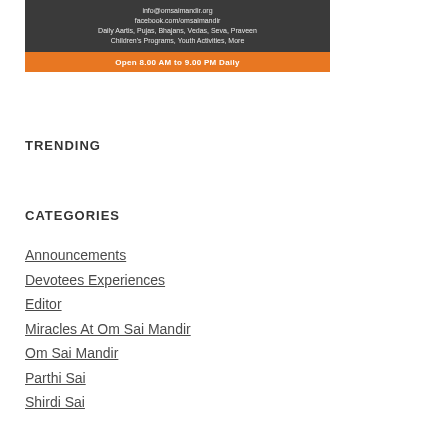[Figure (other): Om Sai Mandir banner image with orange strip showing 'Open 8.00 AM to 9.00 PM Daily']
TRENDING
CATEGORIES
Announcements
Devotees Experiences
Editor
Miracles At Om Sai Mandir
Om Sai Mandir
Parthi Sai
Shirdi Sai